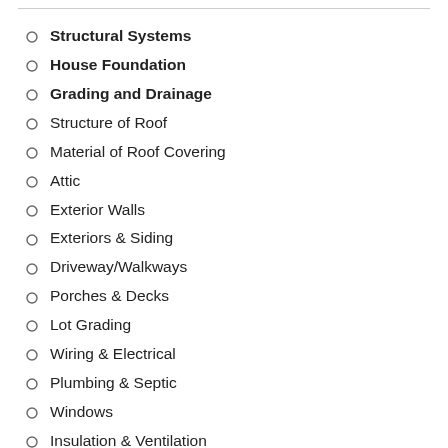Structural Systems
House Foundation
Grading and Drainage
Structure of Roof
Material of Roof Covering
Attic
Exterior Walls
Exteriors & Siding
Driveway/Walkways
Porches & Decks
Lot Grading
Wiring & Electrical
Plumbing & Septic
Windows
Insulation & Ventilation